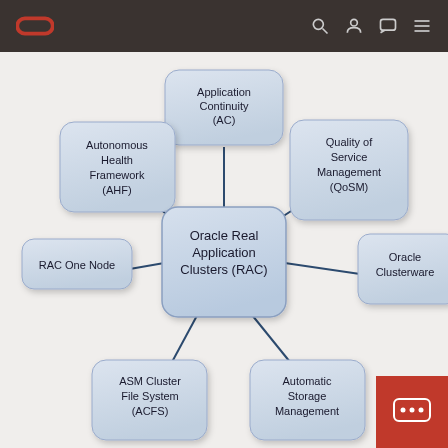[Figure (network-graph): Oracle RAC ecosystem mind-map diagram showing Oracle Real Application Clusters (RAC) as the central node connected to: Application Continuity (AC) at top, Autonomous Health Framework (AHF) at upper-left, Quality of Service Management (QoSM) at upper-right, RAC One Node at left, Oracle Clusterware at right, ASM Cluster File System (ACFS) at lower-left, and Automatic Storage Management at lower-right.]